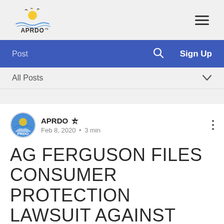[Figure (logo): APRDO logo with sun, water, and birds illustration above the text APRDO]
Post   🔍   Sign Up
All Posts
[Figure (logo): APRDO circular avatar logo]
APRDO ⭐ Feb 8, 2020 • 3 min
AG FERGUSON FILES CONSUMER PROTECTION LAWSUIT AGAINST BELLEVUE TIMESHARE EXIT COMPANY